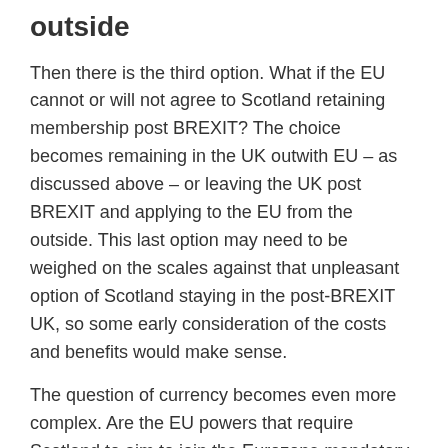outside
Then there is the third option. What if the EU cannot or will not agree to Scotland retaining membership post BREXIT? The choice becomes remaining in the UK outwith EU – as discussed above – or leaving the UK post BREXIT and applying to the EU from the outside. This last option may need to be weighed on the scales against that unpleasant option of Scotland staying in the post-BREXIT UK, so some early consideration of the costs and benefits would make sense.
The question of currency becomes even more complex. Are the EU powers that require Scotland to aim to join the Eurozone mandatory to be granted EU entry? Has the FM been told that we could be exempt to stop this one? If so, should we